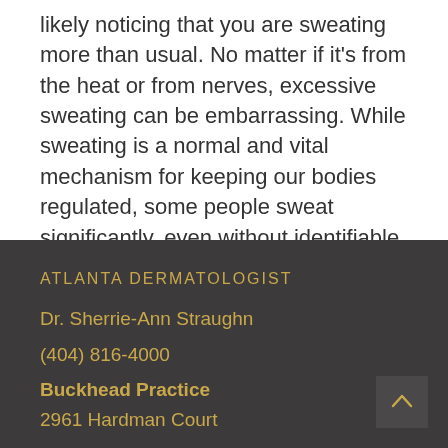likely noticing that you are sweating more than usual. No matter if it's from the heat or from nerves, excessive sweating can be embarrassing. While sweating is a normal and vital mechanism for keeping our bodies regulated, some people sweat significantly, even without identifiable causes. ...
Read More
ATLANTA DERMATOLOGIST
Dr. Sherrie-Ann Straughn
(404) 816-4000
Buckhead Practice
2961 Hardman Court
Atlanta, Georgia 30305